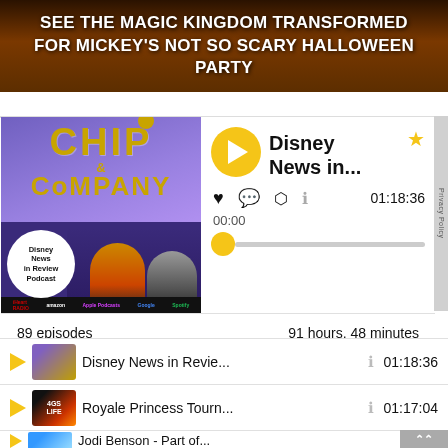[Figure (photo): Banner image with dark orange/brown background showing text overlay for Magic Kingdom Halloween party]
SEE THE MAGIC KINGDOM TRANSFORMED FOR MICKEY'S NOT SO SCARY HALLOWEEN PARTY
[Figure (screenshot): Podcast player card for Chip & Company Disney News in Review Podcast, showing play button, episode title 'Disney News in...', time 00:00 / 01:18:36, progress bar, and action icons. 89 episodes, 91 hours 48 minutes total.]
Disney News in Revie...	01:18:36
Royale Princess Tourn...	01:17:04
Jodi Benson - Part of...